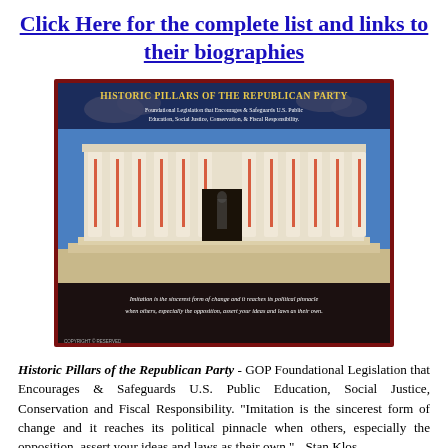Click Here for the complete list and links to their biographies
[Figure (photo): Photo of a neoclassical monument (resembling the Lincoln Memorial) with text overlay reading 'Historic Pillars of the Republican Party — Foundational Legislation that Encourages & Safeguards U.S. Public Education, Social Justice, Conservation, & Fiscal Responsibility.' A quote banner at the bottom reads: 'Imitation is the sincerest form of change and it reaches its political pinnacle when others, especially the opposition, assert your ideas and laws as their own.']
Historic Pillars of the Republican Party - GOP Foundational Legislation that Encourages & Safeguards U.S. Public Education, Social Justice, Conservation and Fiscal Responsibility. "Imitation is the sincerest form of change and it reaches its political pinnacle when others, especially the opposition, assert your ideas and laws as their own." - Stan Klos